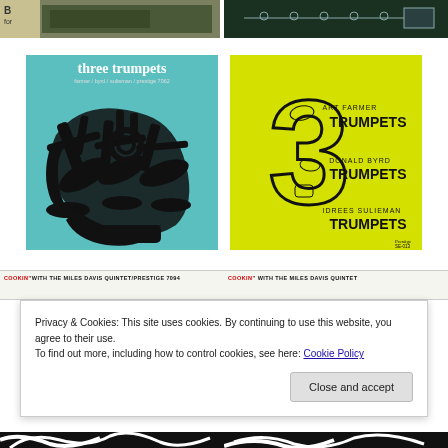[Figure (photo): Top left partial album cover, dark olive/green tones, partial text visible]
[Figure (photo): Top right partial album cover, dark green background with light illustration]
[Figure (photo): Left album cover: Three Trumpets – Farmer/Byrd/Sulieman, Prestige 7062, teal background with black trumpet illustration]
[Figure (photo): Right album cover: 3 Trumpets – Art Farmer, Donald Byrd, Idrees Sulieman, yellow background with large '3' and trumpet illustrations]
[Figure (photo): Bottom strip left: Cookin' With the Miles Davis Quintet / Prestige 7094 text header]
[Figure (photo): Bottom strip right: Cookin' With the Miles Davis Quintet text header]
Privacy & Cookies: This site uses cookies. By continuing to use this website, you agree to their use.
To find out more, including how to control cookies, see here: Cookie Policy
Close and accept
[Figure (photo): Bottom peek: partial black and white album cover art visible at very bottom]